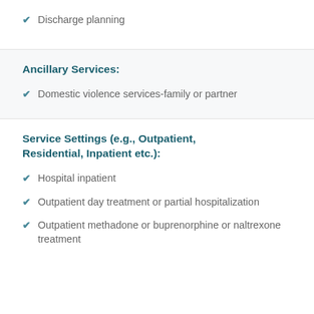Discharge planning
Ancillary Services:
Domestic violence services-family or partner
Service Settings (e.g., Outpatient, Residential, Inpatient etc.):
Hospital inpatient
Outpatient day treatment or partial hospitalization
Outpatient methadone or buprenorphine or naltrexone treatment